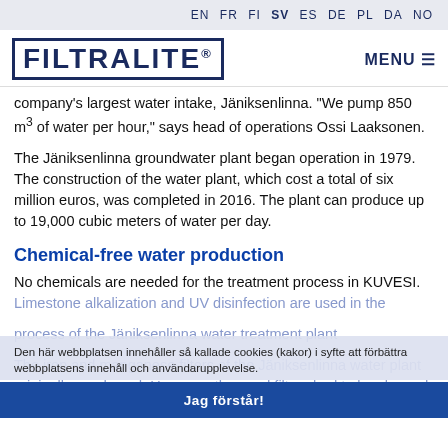EN FR FI SV ES DE PL DA NO
FILTRALITE® MENU
company's largest water intake, Jäniksenlinna. "We pump 850 m³ of water per hour," says head of operations Ossi Laaksonen.
The Jäniksenlinna groundwater plant began operation in 1979. The construction of the water plant, which cost a total of six million euros, was completed in 2016. The plant can produce up to 19,000 cubic meters of water per day.
Chemical-free water production
No chemicals are needed for the treatment process in KUVESI. Limestone alkalization and UV disinfection are used in the process of the Jäniksenlinna water treatment plant
The iron and manganese filters of the Jäniksenlinna water plant originally used sand. However, the sand filters had to be cleaned
Den här webbplatsen innehåller så kallade cookies (kakor) i syfte att förbättra webbplatsens innehåll och användarupplevelse.
Jag förstår!